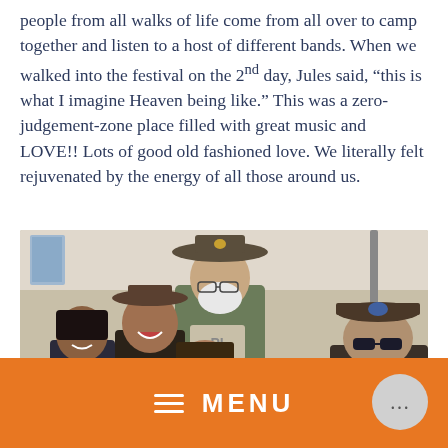people from all walks of life come from all over to camp together and listen to a host of different bands. When we walked into the festival on the 2nd day, Jules said, “this is what I imagine Heaven being like.” This was a zero-judgement-zone place filled with great music and LOVE!! Lots of good old fashioned love. We literally felt rejuvenated by the energy of all those around us.
[Figure (photo): Group photo of several smiling people gathered together under a tent or canopy at what appears to be an outdoor music festival. A man with a wide-brimmed hat and gray beard is prominent in the center background.]